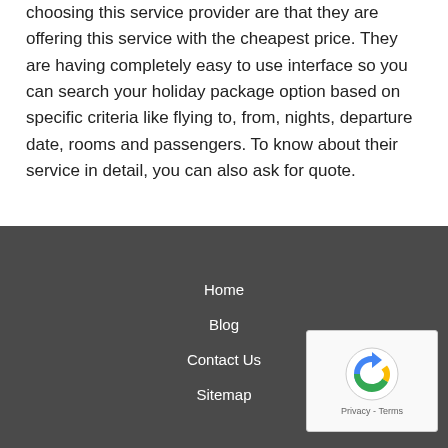choosing this service provider are that they are offering this service with the cheapest price. They are having completely easy to use interface so you can search your holiday package option based on specific criteria like flying to, from, nights, departure date, rooms and passengers. To know about their service in detail, you can also ask for quote.
Couples Travel
Home
Blog
Contact Us
Sitemap